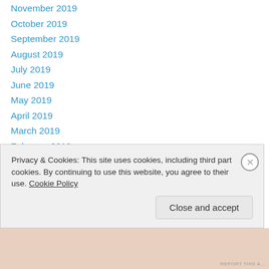November 2019
October 2019
September 2019
August 2019
July 2019
June 2019
May 2019
April 2019
March 2019
February 2019
January 2019
December 2018
November 2018
October 2018
September 2018
Privacy & Cookies: This site uses cookies, including third part cookies. By continuing to use this website, you agree to their use. Cookie Policy
Close and accept